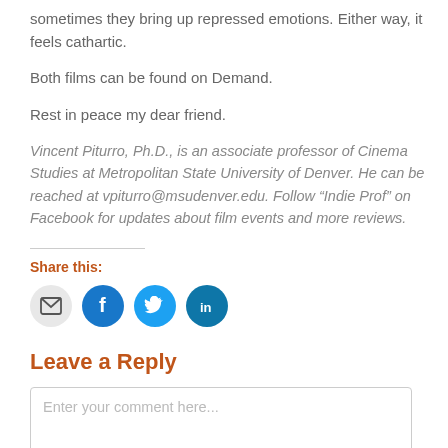sometimes they bring up repressed emotions. Either way, it feels cathartic.
Both films can be found on Demand.
Rest in peace my dear friend.
Vincent Piturro, Ph.D., is an associate professor of Cinema Studies at Metropolitan State University of Denver. He can be reached at vpiturro@msudenver.edu. Follow “Indie Prof” on Facebook for updates about film events and more reviews.
Share this:
[Figure (infographic): Four social media sharing icon buttons: email (gray), Facebook (blue), Twitter (light blue), LinkedIn (dark blue)]
Leave a Reply
Enter your comment here...